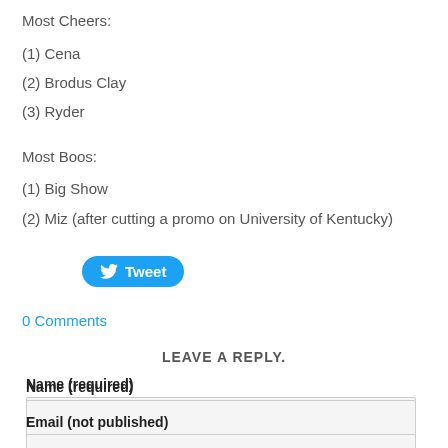Most Cheers:
(1) Cena
(2) Brodus Clay
(3) Ryder
Most Boos:
(1) Big Show
(2) Miz (after cutting a promo on University of Kentucky)
[Figure (other): Tweet button]
0 Comments
LEAVE A REPLY.
Name (required)
Email (not published)